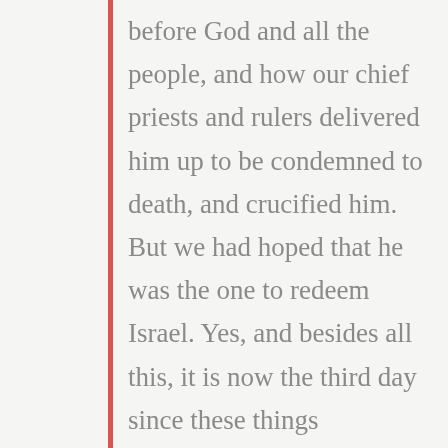before God and all the people, and how our chief priests and rulers delivered him up to be condemned to death, and crucified him. But we had hoped that he was the one to redeem Israel. Yes, and besides all this, it is now the third day since these things happened. Moreover, some women of our company amazed us. They were at the tomb early in the morning, and when they did not find his body, they came back saying that they had even seen